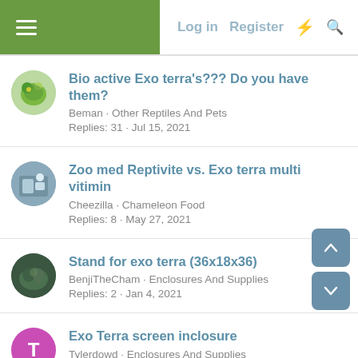Log in  Register
Bio active Exo terra's??? Do you have them?
Beman · Other Reptiles And Pets
Replies: 31 · Jul 15, 2021
Zoo med Reptivite vs. Exo terra multi vitimin
Cheezilla · Chameleon Food
Replies: 8 · May 27, 2021
Stand for exo terra (36x18x36)
BenjiTheCham · Enclosures And Supplies
Replies: 2 · Jan 4, 2021
Exo Terra screen inclosure
Tylerdowd · Enclosures And Supplies
Replies: 5 · Apr 15, 2021